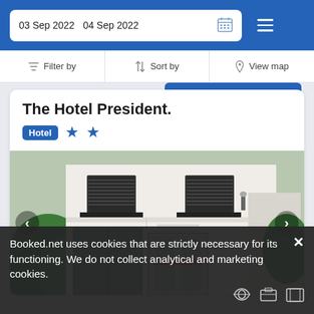03 Sep 2022   04 Sep 2022
Filter by   Sort by   View map
The Hotel President.
Hotel ★★
[Figure (photo): Exterior photo of The Hotel President showing white building facade with dark shuttered windows, balconies with iron railings, and ground-floor entrance with glass doors. Navigation arrows visible on left and right sides.]
Booked.net uses cookies that are strictly necessary for its functioning. We do not collect analytical and marketing cookies.